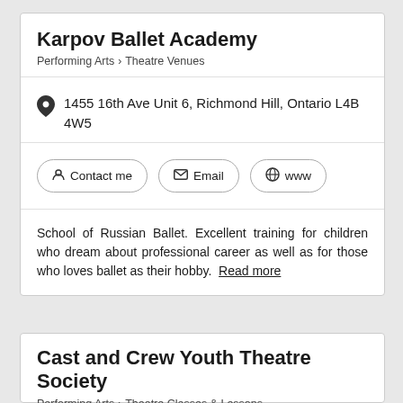Karpov Ballet Academy
Performing Arts > Theatre Venues
1455 16th Ave Unit 6, Richmond Hill, Ontario L4B 4W5
Contact me | Email | www
School of Russian Ballet. Excellent training for children who dream about professional career as well as for those who loves ballet as their hobby. Read more
Cast and Crew Youth Theatre Society
Performing Arts > Theatre Classes & Lessons
[Figure (photo): Photo thumbnail at bottom of Cast and Crew Youth Theatre Society listing]